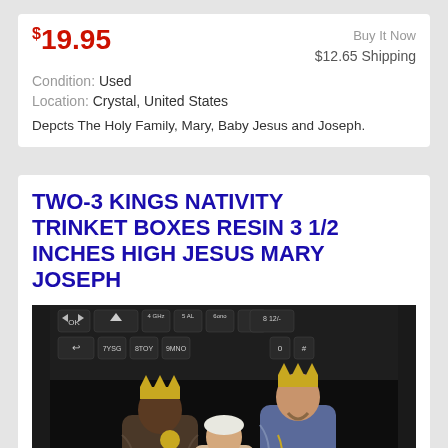$19.95
Buy It Now
$12.65 Shipping
Condition: Used
Location: Crystal, United States
Depcts The Holy Family, Mary, Baby Jesus and Joseph.
TWO-3 KINGS NATIVITY TRINKET BOXES RESIN 3 1/2 INCHES HIGH JESUS MARY JOSEPH
[Figure (photo): Photo of resin nativity figurines (Three Kings/Holy Family) in front of a keyboard background]